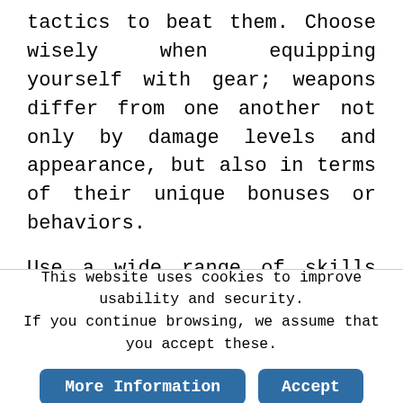tactics to beat them. Choose wisely when equipping yourself with gear; weapons differ from one another not only by damage levels and appearance, but also in terms of their unique bonuses or behaviors.
Use a wide range of skills thanks to the gadget-based RPG system: direct attacks, area attacks, offensive and defensive buffs, etc. But be careful, because while they are powerful, they also drain your energy. Remember that some enemies are
This website uses cookies to improve usability and security. If you continue browsing, we assume that you accept these.